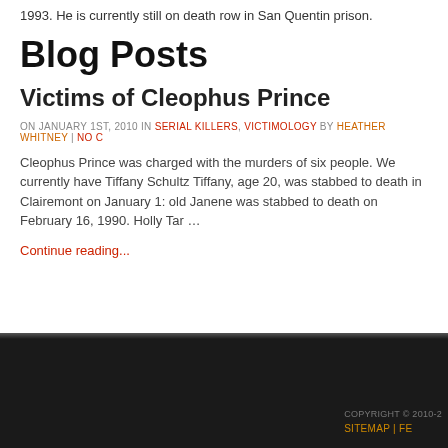1993. He is currently still on death row in San Quentin prison.
Blog Posts
Victims of Cleophus Prince
ON JANUARY 1ST, 2010 IN SERIAL KILLERS, VICTIMOLOGY BY HEATHER WHITNEY | NO C
Cleophus Prince was charged with the murders of six people. We currently have Tiffany Schultz Tiffany, age 20, was stabbed to death in Clairemont on January 1: old Janene was stabbed to death on February 16, 1990. Holly Tar …
Continue reading...
COPYRIGHT © 2010-2 | SITEMAP | FE